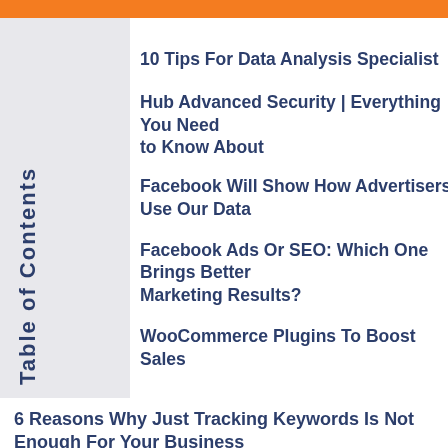Table of Contents
10 Tips For Data Analysis Specialist
Hub Advanced Security | Everything You Need to Know About
Facebook Will Show How Advertisers Use Our Data
Facebook Ads Or SEO: Which One Brings Better Marketing Results?
WooCommerce Plugins To Boost Sales
6 Reasons Why Just Tracking Keywords Is Not Enough For Your Business
How To Hire The Right SEO Agency